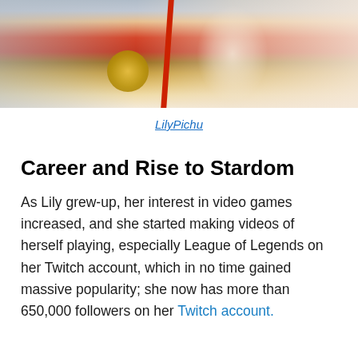[Figure (photo): Close-up photo of a person wearing colorful clothing with red, gold/brown, and blue elements. A red diagonal strap or stripe is visible prominently.]
LilyPichu
Career and Rise to Stardom
As Lily grew-up, her interest in video games increased, and she started making videos of herself playing, especially League of Legends on her Twitch account, which in no time gained massive popularity; she now has more than 650,000 followers on her Twitch account.